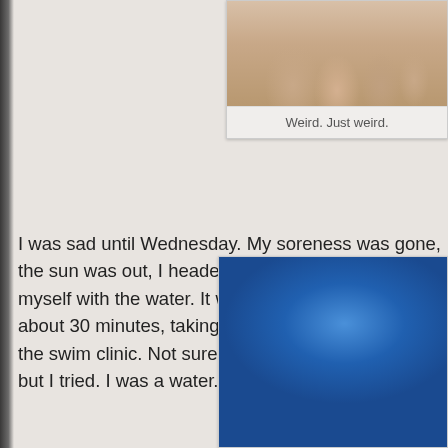[Figure (photo): Close-up photo of fingers/hand, partially cropped, top-right of page]
Weird. Just weird.
I was sad until Wednesday. My soreness was gone, the sun was out, I headed to the pool to re-acquaint myself with the water. It was, um, practiced form for about 30 minutes, taking a breather after every 50 the swim clinic. Not sure if I could really execute it, but I tried. I was a water.
[Figure (photo): Photo of a blue swim cap and swim bag with pink/purple fabric and goggles visible, bottom-right of page]